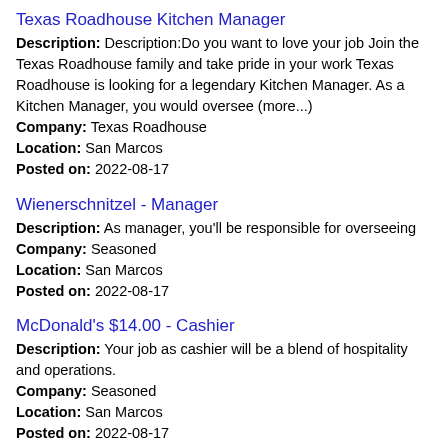Texas Roadhouse Kitchen Manager
Description: Description:Do you want to love your job Join the Texas Roadhouse family and take pride in your work Texas Roadhouse is looking for a legendary Kitchen Manager. As a Kitchen Manager, you would oversee (more...)
Company: Texas Roadhouse
Location: San Marcos
Posted on: 2022-08-17
Wienerschnitzel - Manager
Description: As manager, you'll be responsible for overseeing
Company: Seasoned
Location: San Marcos
Posted on: 2022-08-17
McDonald's $14.00 - Cashier
Description: Your job as cashier will be a blend of hospitality and operations.
Company: Seasoned
Location: San Marcos
Posted on: 2022-08-17
Grins Restaurant - Sous Chef
Description: We need a kitchen manager to lead our team with our Chef isn't
Company: Seasoned
Location: San Marcos